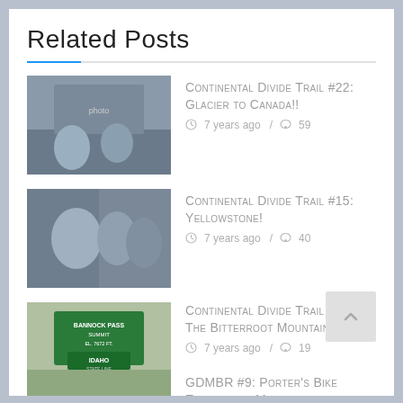Related Posts
Continental Divide Trail #22: Glacier to CANADA!! — 7 years ago / 59
Continental Divide Trail #15: Yellowstone! — 7 years ago / 40
Continental Divide Trail #17: The Bitterroot Mountains! — 7 years ago / 19
GDMBR #9: Porter's Bike Explodes in Montana Wilderness! — 5 years ago / 47